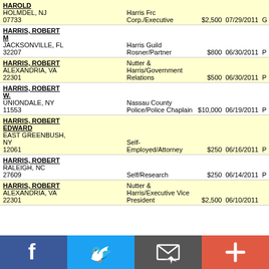| Name/Address | Employer/Occupation | Amount | Date | Type |
| --- | --- | --- | --- | --- |
| HAROLD
HOLMDEL, NJ
07733 | Harris Frc Corp./Executive | $2,500 | 07/29/2011 | G |
| HARRIS, ROBERT M
JACKSONVILLE, FL
32207 | Harris Guild Rosner/Partner | $800 | 06/30/2011 | P |
| HARRIS, ROBERT
ALEXANDRIA, VA
22301 | Nutter & Harris/Government Relations | $500 | 06/30/2011 | P |
| HARRIS, ROBERT W.
UNIONDALE, NY
11553 | Nassau County Police/Police Chaplain | $10,000 | 06/19/2011 | P |
| HARRIS, ROBERT EDWARD
EAST GREENBUSH, NY
12061 | Self-Employed/Attorney | $250 | 06/16/2011 | P |
| HARRIS, ROBERT
RALEIGH, NC
27609 | Self/Research | $250 | 06/14/2011 | P |
| HARRIS, ROBERT
ALEXANDRIA, VA
22301 | Nutter & Harris/Executive Vice President | $2,500 | 06/10/2011 |  |
[Figure (infographic): Social media sharing footer bar with Facebook (blue), Twitter (light blue), Email (dark gray), and Add/Plus (red-orange) buttons with icons]